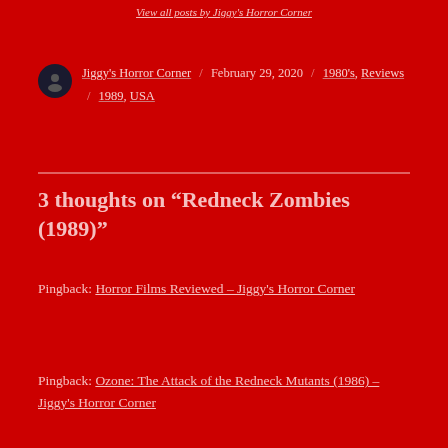View all posts by Jiggy's Horror Corner
Jiggy's Horror Corner / February 29, 2020 / 1980's, Reviews / 1989, USA
3 thoughts on “Redneck Zombies (1989)”
Pingback: Horror Films Reviewed – Jiggy’s Horror Corner
Pingback: Ozone: The Attack of the Redneck Mutants (1986) – Jiggy’s Horror Corner